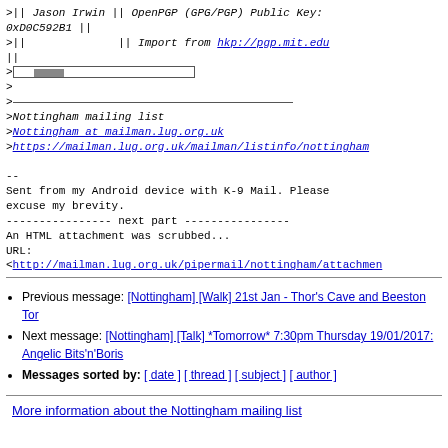>|| Jason Irwin || OpenPGP (GPG/PGP) Public Key: 0xD0C592B1 ||
>||              || Import from hkp://pgp.mit.edu
||
>|[scrollbar graphic]|
>
>________
>Nottingham mailing list
>Nottingham at mailman.lug.org.uk
>https://mailman.lug.org.uk/mailman/listinfo/nottingham

--
Sent from my Android device with K-9 Mail. Please excuse my brevity.
---------------- next part ----------------
An HTML attachment was scrubbed...
URL:
<http://mailman.lug.org.uk/pipermail/nottingham/attachme
Previous message: [Nottingham] [Walk] 21st Jan - Thor's Cave and Beeston Tor
Next message: [Nottingham] [Talk] *Tomorrow* 7:30pm Thursday 19/01/2017: Angelic Bits'n'Boris
Messages sorted by: [ date ] [ thread ] [ subject ] [ author ]
More information about the Nottingham mailing list